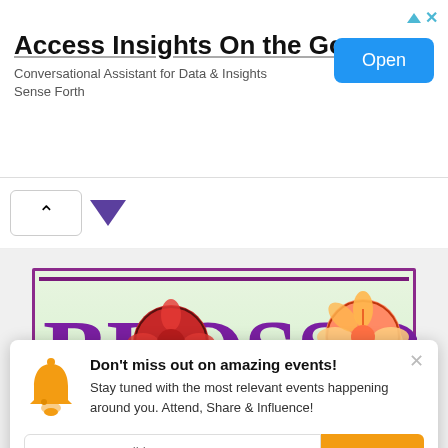[Figure (screenshot): Advertisement banner: 'Access Insights On the Go' with subtitle 'Conversational Assistant for Data & Insights Sense Forth' and a blue 'Open' button]
[Figure (screenshot): Navigation area with an up-arrow button and a downward-pointing purple triangle]
[Figure (logo): Blossoms logo with purple serif text on light green background with flower circle decorations]
Don't miss out on amazing events! Stay tuned with the most relevant events happening around you. Attend, Share & Influence!
Enter your email here
Subscribe